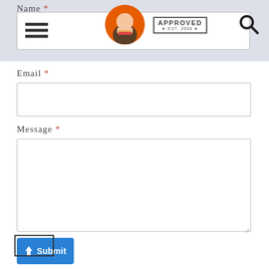Name *
[Figure (screenshot): Website header bar with hamburger menu, circular avatar photo of a man eating, APPROVED EST. 2008 stamp logo, and search magnifying glass icon]
Email *
Message *
Submit